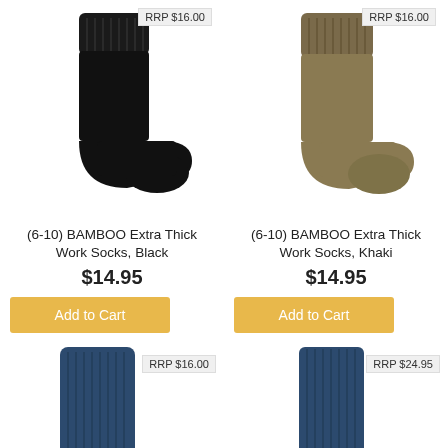[Figure (photo): Black bamboo work sock, side view]
RRP $16.00
[Figure (photo): Khaki bamboo work sock, side view]
RRP $16.00
(6-10) BAMBOO Extra Thick Work Socks, Black
(6-10) BAMBOO Extra Thick Work Socks, Khaki
$14.95
$14.95
Add to Cart
Add to Cart
[Figure (photo): Partial view of navy blue bamboo work sock]
RRP $16.00
[Figure (photo): Partial view of navy blue long bamboo sock]
RRP $24.95